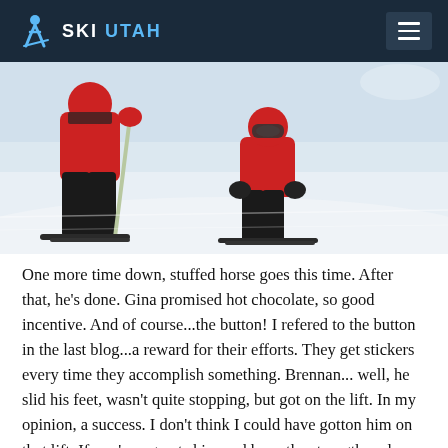SKI UTAH
[Figure (photo): Two skiers on a snowy slope; an adult in black ski pants and red jacket holding a pole on the left, and a child in a red ski jacket and red helmet/goggles on the right, both in a crouched skiing position.]
One more time down, stuffed horse goes this time.  After that, he's done. Gina promised hot chocolate, so good incentive. And of course...the button! I refered to the button in the last blog...a reward for their efforts. They get stickers every time they accomplish something.  Brennan... well, he slid his feet, wasn't quite stopping, but got on the lift. In my opinion, a success. I don't think I could have gotton him on that lift.  If you're a great skier and have the strength and